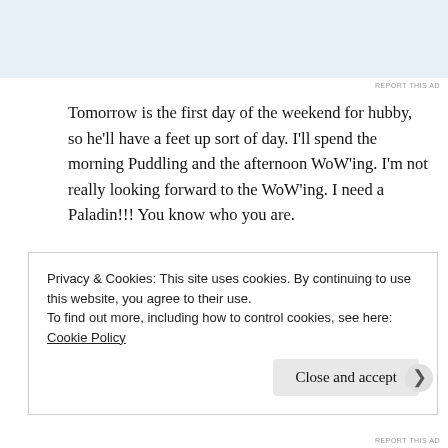[Figure (other): Top advertisement banner area with light blue background]
REPORT THIS AD
Tomorrow is the first day of the weekend for hubby, so he'll have a feet up sort of day. I'll spend the morning Puddling and the afternoon WoW'ing. I'm not really looking forward to the WoW'ing. I need a Paladin!!! You know who you are.

I hope you have a wonderful weekend whether you are relaxing, being super productive and everything in between. Stay safe.
Privacy & Cookies: This site uses cookies. By continuing to use this website, you agree to their use.
To find out more, including how to control cookies, see here: Cookie Policy
Close and accept
REPORT THIS AD